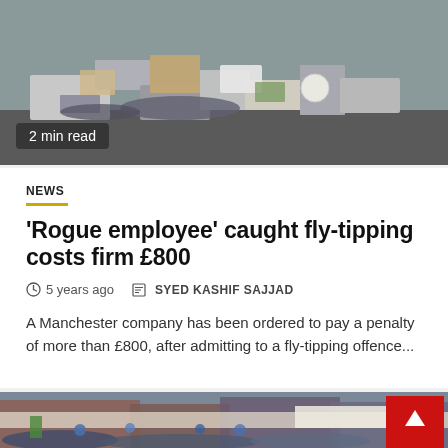[Figure (photo): Pile of rubbish and debris on a street, fly-tipping scene]
2 min read
NEWS
'Rogue employee' caught fly-tipping costs firm £800
5 years ago   SYED KASHIF SAJJAD
A Manchester company has been ordered to pay a penalty of more than £800, after admitting to a fly-tipping offence...
[Figure (photo): Crowd scene on a street with shop fronts including a Fila store, people gathered outdoors]